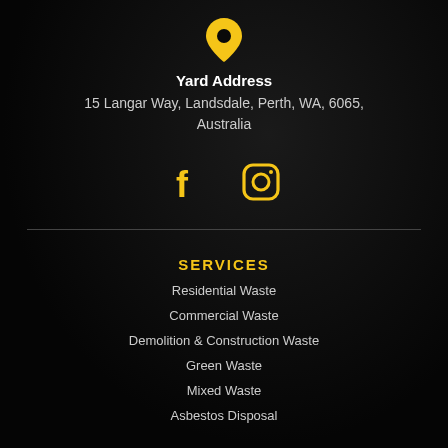[Figure (illustration): Yellow map location pin icon on dark background]
Yard Address
15 Langar Way, Landsdale, Perth, WA, 6065, Australia
[Figure (illustration): Facebook and Instagram social media icons in yellow]
SERVICES
Residential Waste
Commercial Waste
Demolition & Construction Waste
Green Waste
Mixed Waste
Asbestos Disposal